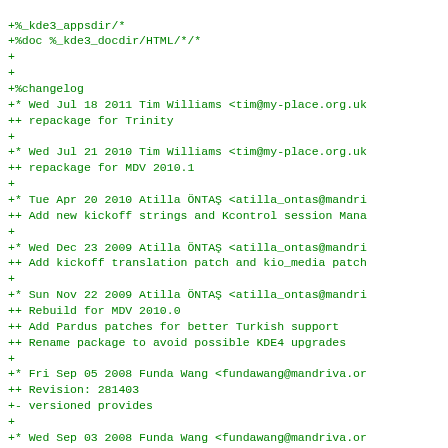+%_kde3_appsdir/*
+%doc %_kde3_docdir/HTML/*/*
+
+
+%changelog
+* Wed Jul 18 2011 Tim Williams <tim@my-place.org.uk
++ repackage for Trinity
+
+* Wed Jul 21 2010 Tim Williams <tim@my-place.org.uk
++ repackage for MDV 2010.1
+
+* Tue Apr 20 2010 Atilla ÖNTAŞ <atilla_ontas@mandri
++ Add new kickoff strings and Kcontrol session Mana
+
+* Wed Dec 23 2009 Atilla ÖNTAŞ <atilla_ontas@mandri
++ Add kickoff translation patch and kio_media patch
+
+* Sun Nov 22 2009 Atilla ÖNTAŞ <atilla_ontas@mandri
++ Rebuild for MDV 2010.0
++ Add Pardus patches for better Turkish support
++ Rename package to avoid possible KDE4 upgrades
+
+* Fri Sep 05 2008 Funda Wang <fundawang@mandriva.or
++ Revision: 281403
+- versioned provides
+
+* Wed Sep 03 2008 Funda Wang <fundawang@mandriva.or
++ Revision: 279500
+- New version 3.5.10
+